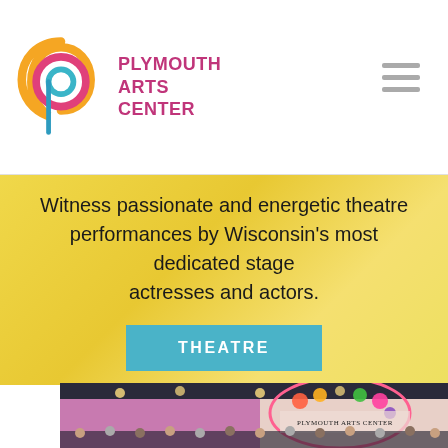PLYMOUTH ARTS CENTER
Witness passionate and energetic theatre performances by Wisconsin's most dedicated stage actresses and actors.
THEATRE
[Figure (photo): Choir performing on stage at Plymouth Arts Center with floral arch decoration and Plymouth Arts Center sign visible in background]